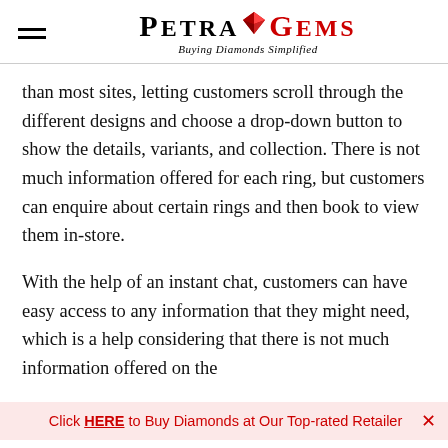PETRAGEMS — Buying Diamonds Simplified
than most sites, letting customers scroll through the different designs and choose a drop-down button to show the details, variants, and collection. There is not much information offered for each ring, but customers can enquire about certain rings and then book to view them in-store.
With the help of an instant chat, customers can have easy access to any information that they might need, which is a help considering that there is not much information offered on the
Click HERE to Buy Diamonds at Our Top-rated Retailer